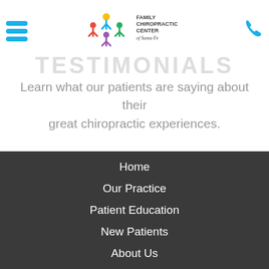[Figure (logo): Family Chiropractic Center of Santa Fe logo with colorful figure icon and text]
TESTIMONIALS
Learn what our patients are saying about their great chiropractic experiences.
Read their testimonials.
❯ Read More
Home
Our Practice
Patient Education
New Patients
About Us